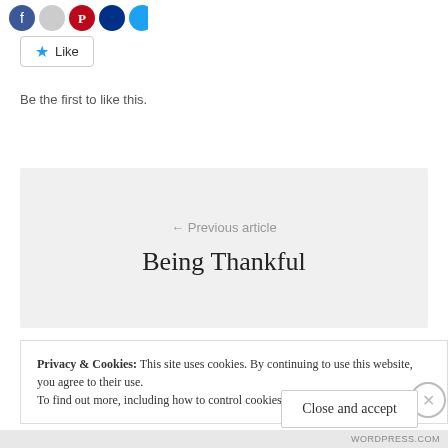[Figure (illustration): Row of social media sharing icon circles (blue Facebook, grey, red Pinterest, dark blue, light blue Twitter) partially visible at top]
Like
Be the first to like this.
← Previous article
Being Thankful
Privacy & Cookies: This site uses cookies. By continuing to use this website, you agree to their use.
To find out more, including how to control cookies, see here: Cookie Policy
Close and accept
WORDPRESS.COM